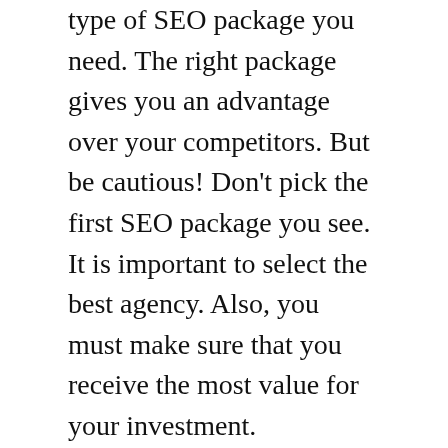type of SEO package you need. The right package gives you an advantage over your competitors. But be cautious! Don't pick the first SEO package you see. It is important to select the best agency. Also, you must make sure that you receive the most value for your investment.
A quality SEO package must also include a technical analysis. A technical analysis can reveal issues with your website's design and code. It will identify the pages that load slow. Fast-loading pages will improve the user experience, and keep your visitors on your site for longer. The most effective SEO packages offer an analysis of technical aspects. Moreover the keywords you choose are crucial. Your website will not be found in the search results if you don't select the correct keywords.
In addition to focusing on keyword research and focusing on keyword research, an SEO strategy should also